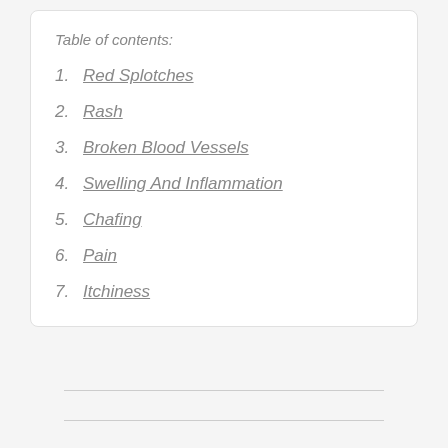Table of contents:
1. Red Splotches
2. Rash
3. Broken Blood Vessels
4. Swelling And Inflammation
5. Chafing
6. Pain
7. Itchiness